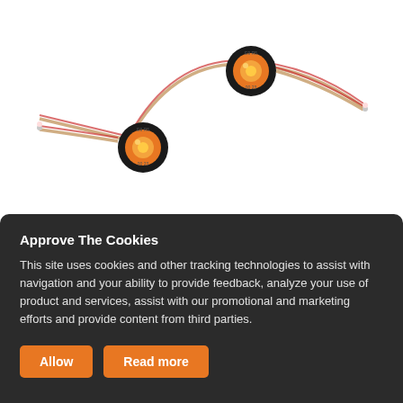[Figure (photo): Two amber/orange round LED marker lights with black rubber grommets and wired leads (red and white wires), arranged on a white background. The lights have curved wire harnesses extending from them.]
Approve The Cookies
This site uses cookies and other tracking technologies to assist with navigation and your ability to provide feedback, analyze your use of product and services, assist with our promotional and marketing efforts and provide content from third parties.
Allow
Read more